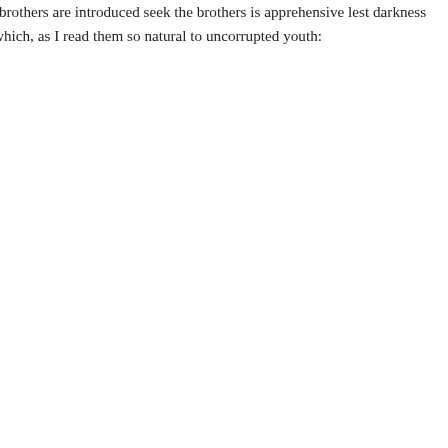I fell into this train of thinking, two brothers are introduced seeking the brothers is apprehensive lest darkness and loneliness of the time reflections, which, as I read them so natural to uncorrupted youth:
" I do not think my sister so Or so unprincipled in virtue And the sweet peace that go As that the single want of li (Not being in danger, as I tr Could stir the constant moo And put them into misbecom Virtue could see tu do what By her own radiant light, th Were in the flat sea sunk. A Oft seeks to sweet retired so Where, with her best nurse, She plumes her feathers, an That in the various bustle o Were all too ruffled, and so He that has light within his May sit i' th' centre, and en